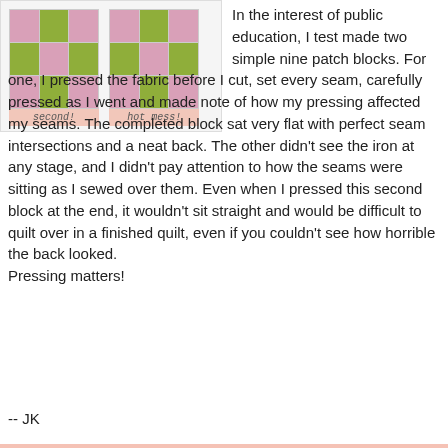[Figure (photo): Two nine-patch quilt blocks side by side. Left block labeled 'second!' and right block labeled 'hot mess!' Both show pink and green fabric squares arranged in a 3x3 grid pattern. Pink labels at the bottom of each block.]
In the interest of public education, I test made two simple nine patch blocks. For one, I pressed the fabric before I cut, set every seam, carefully pressed as I went and made note of how my pressing affected my seams. The completed block sat very flat with perfect seam intersections and a neat back. The other didn't see the iron at any stage, and I didn't pay attention to how the seams were sitting as I sewed over them. Even when I pressed this second block at the end, it wouldn't sit straight and would be difficult to quilt over in a finished quilt, even if you couldn't see how horrible the back looked.
Pressing matters!
-- JK